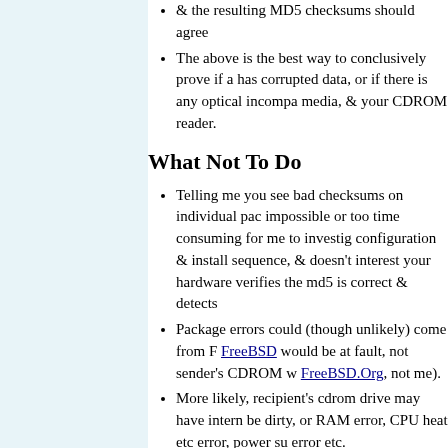& the resulting MD5 checksums should agree
The above is the best way to conclusively prove if a has corrupted data, or if there is any optical incompat media, & your CDROM reader.
What Not To Do
Telling me you see bad checksums on individual pac impossible or too time consuming for me to investig configuration & install sequence, & doesn't interest your hardware verifies the md5 is correct & detects
Package errors could (though unlikely) come from F FreeBSD would be at fault, not sender's CDROM w FreeBSD.Org, not me).
More likely, recipient's cdrom drive may have intern be dirty, or RAM error, CPU heat etc error, power su error etc.
Boot Problems If after checking the checksum, you then h
Return To Top Of Page